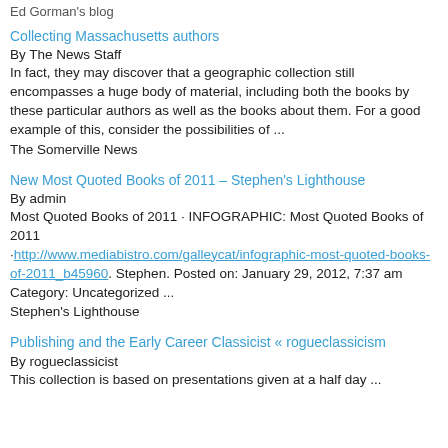Ed Gorman's blog
Collecting Massachusetts authors
By The News Staff
In fact, they may discover that a geographic collection still encompasses a huge body of material, including both the books by these particular authors as well as the books about them. For a good example of this, consider the possibilities of ...
The Somerville News
New Most Quoted Books of 2011 – Stephen's Lighthouse
By admin
Most Quoted Books of 2011 · INFOGRAPHIC: Most Quoted Books of 2011 ·http://www.mediabistro.com/galleycat/infographic-most-quoted-books-of-2011_b45960. Stephen. Posted on: January 29, 2012, 7:37 am Category: Uncategorized ...
Stephen's Lighthouse
Publishing and the Early Career Classicist « rogueclassicism
By rogueclassicist
This collection is based on presentations given at a half day ...